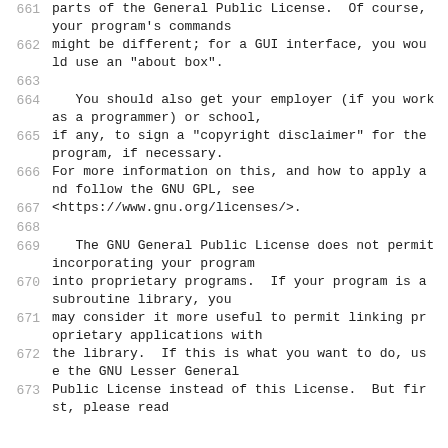661  parts of the General Public License.  Of course, your program's commands
662  might be different; for a GUI interface, you would use an "about box".
663
664    You should also get your employer (if you work as a programmer) or school,
665  if any, to sign a "copyright disclaimer" for the program, if necessary.
666  For more information on this, and how to apply and follow the GNU GPL, see
667  <https://www.gnu.org/licenses/>.
668
669    The GNU General Public License does not permit incorporating your program
670  into proprietary programs.  If your program is a subroutine library, you
671  may consider it more useful to permit linking proprietary applications with
672  the library.  If this is what you want to do, use the GNU Lesser General
673  Public License instead of this License.  But first, please read